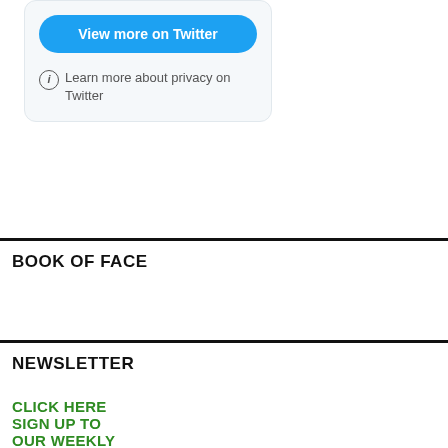[Figure (screenshot): Twitter widget with 'View more on Twitter' blue button and privacy info link]
BOOK OF FACE
NEWSLETTER
CLICK HERE SIGN UP TO OUR WEEKLY NEWSLETTER